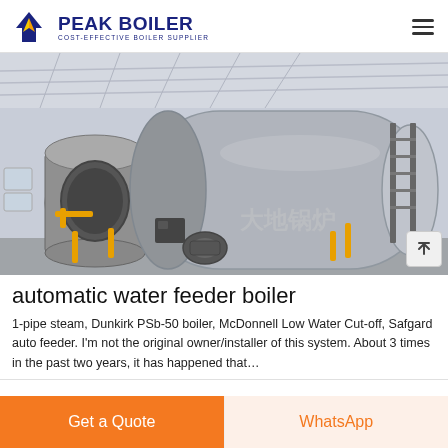PEAK BOILER - COST-EFFECTIVE BOILER SUPPLIER
[Figure (photo): Industrial boilers in a factory setting — large cylindrical steel boilers with yellow piping and control panels, inside a warehouse with white roof panels]
automatic water feeder boiler
1-pipe steam, Dunkirk PSb-50 boiler, McDonnell Low Water Cut-off, Safgard auto feeder. I'm not the original owner/installer of this system. About 3 times in the past two years, it has happened that…
Get a Quote | WhatsApp